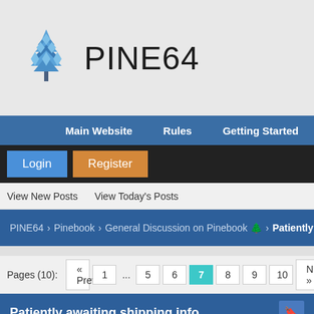[Figure (logo): PINE64 logo: blue pine cone icon followed by PINE64 text in large light font]
Main Website   Rules   Getting Started
Login
Register
View New Posts   View Today's Posts
PINE64 › Pinebook › General Discussion on Pinebook 🌲 › Patiently awaiting shipping info
Pages (10):  « Previous  1  ...  5  6  7  8  9  10  Next »
Patiently awaiting shipping info